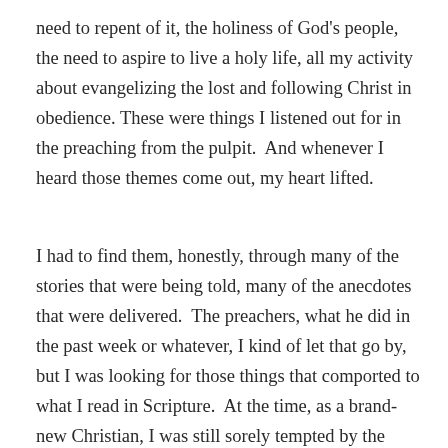need to repent of it, the holiness of God's people, the need to aspire to live a holy life, all my activity about evangelizing the lost and following Christ in obedience. These were things I listened out for in the preaching from the pulpit.  And whenever I heard those themes come out, my heart lifted.
I had to find them, honestly, through many of the stories that were being told, many of the anecdotes that were delivered.  The preachers, what he did in the past week or whatever, I kind of let that go by, but I was looking for those things that comported to what I read in Scripture.  At the time, as a brand-new Christian, I was still sorely tempted by the world and still tempted to live for myself.